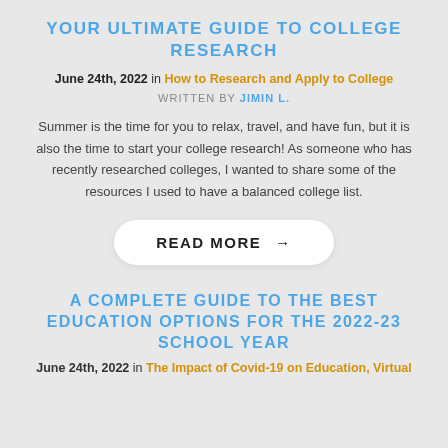YOUR ULTIMATE GUIDE TO COLLEGE RESEARCH
June 24th, 2022 in How to Research and Apply to College
WRITTEN BY JIMIN L.
Summer is the time for you to relax, travel, and have fun, but it is also the time to start your college research! As someone who has recently researched colleges, I wanted to share some of the resources I used to have a balanced college list.
READ MORE →
A COMPLETE GUIDE TO THE BEST EDUCATION OPTIONS FOR THE 2022-23 SCHOOL YEAR
June 24th, 2022 in The Impact of Covid-19 on Education, Virtual...